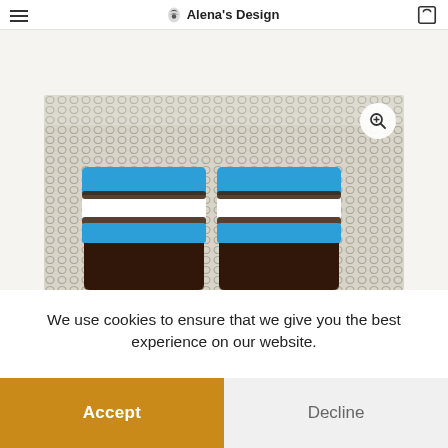Alena's Design
[Figure (photo): Crocheted boot cuffs/leg warmers in brown, blue, and white diamond pattern, displayed against a metal mesh background. A magnify/zoom icon appears in the top-right corner of the image.]
We use cookies to ensure that we give you the best experience on our website.
Accept
Decline